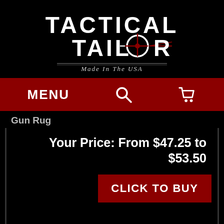[Figure (logo): Tactical Tailor logo — white distressed text on black background reading TACTICAL TAILOR with crosshair on the O, tagline 'Made In The USA']
MENU  🔍  🛒
Gun Rug
Your Price: From $47.25 to $53.50
CLICK TO BUY
[Figure (photo): Partially visible product photo of a gun rug case at the bottom of the page]